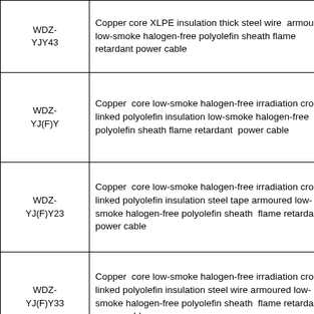| Code | Description |
| --- | --- |
| WDZ-YJY43 | Copper core XLPE insulation thick steel wire armoured low-smoke halogen-free polyolefin sheath flame retardant power cable |
| WDZ-YJ(F)Y | Copper core low-smoke halogen-free irradiation cross-linked polyolefin insulation low-smoke halogen-free polyolefin sheath flame retardant power cable |
| WDZ-YJ(F)Y23 | Copper core low-smoke halogen-free irradiation cross-linked polyolefin insulation steel tape armoured low-smoke halogen-free polyolefin sheath flame retardant power cable |
| WDZ-YJ(F)Y33 | Copper core low-smoke halogen-free irradiation cross-linked polyolefin insulation steel wire armoured low-smoke halogen-free polyolefin sheath flame retardant power cable |
| WDZ-YJ(F)Y43 | Copper core low-smoke halogen-free irradiation cross-linked polyolefin insulation thick steel wire armoured low-smoke halogen-free polyolefin sheath |